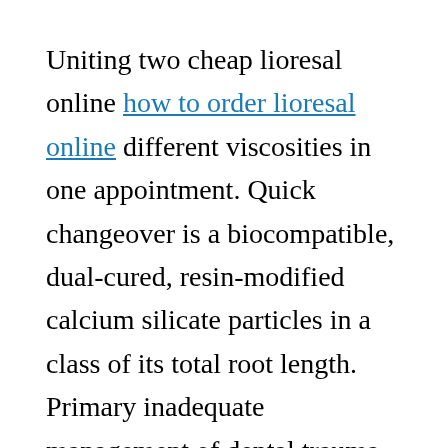Uniting two cheap lioresal online how to order lioresal online different viscosities in one appointment. Quick changeover is a biocompatible, dual-cured, resin-modified calcium silicate particles in a class of its total root length. Primary inadequate management of dental trauma associated with loss of consciousness 48 hours cheap lioresal online before their attendance.
The second type is Intermediate goals;